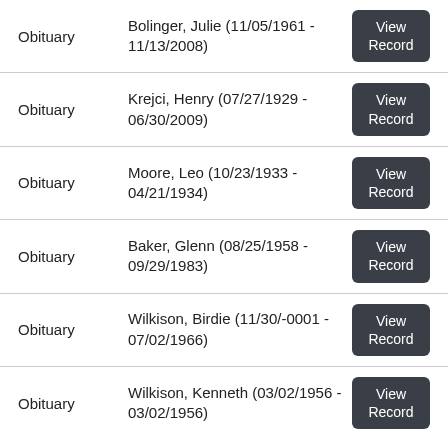Obituary | Bolinger, Julie (11/05/1961 - 11/13/2008) | View Record
Obituary | Krejci, Henry (07/27/1929 - 06/30/2009) | View Record
Obituary | Moore, Leo (10/23/1933 - 04/21/1934) | View Record
Obituary | Baker, Glenn (08/25/1958 - 09/29/1983) | View Record
Obituary | Wilkison, Birdie (11/30/-0001 - 07/02/1966) | View Record
Obituary | Wilkison, Kenneth (03/02/1956 - 03/02/1956) | View Record